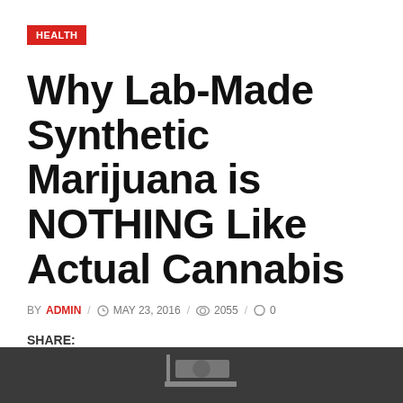HEALTH
Why Lab-Made Synthetic Marijuana is NOTHING Like Actual Cannabis
BY ADMIN / MAY 23, 2016 / 2055 / 0
SHARE:
[Figure (other): Social share buttons: Facebook, Twitter, Google+, Pinterest, StumbleUpon, LinkedIn]
[Figure (photo): Dark background image at bottom of page, partially visible]